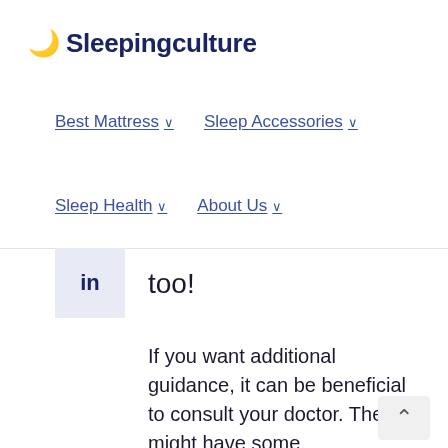Sleepingculture
Best Mattress ∨   Sleep Accessories ∨
Sleep Health ∨   About Us ∨
too!
If you want additional guidance, it can be beneficial to consult your doctor. They might have some recommendations or be able to offer you guidance. We have included our five favorite